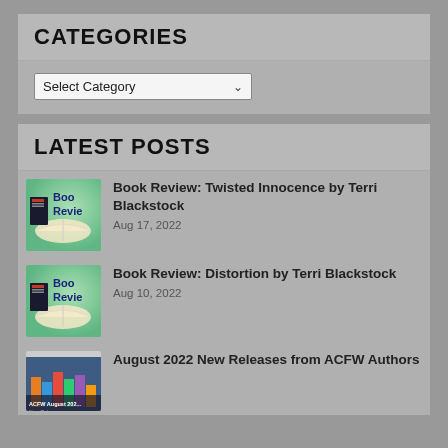CATEGORIES
Select Category
LATEST POSTS
Book Review: Twisted Innocence by Terri Blackstock
Aug 17, 2022
Book Review: Distortion by Terri Blackstock
Aug 10, 2022
August 2022 New Releases from ACFW Authors